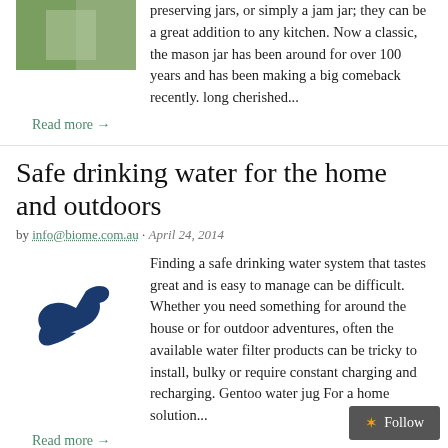[Figure (photo): Partial image of mason jar or similar, cut off at top]
preserving jars, or simply a jam jar; they can be a great addition to any kitchen. Now a classic, the mason jar has been around for over 100 years and has been making a big comeback recently. long cherished...
Read more →
Safe drinking water for the home and outdoors
by info@biome.com.au · April 24, 2014
[Figure (illustration): Blue bird or swoosh shape illustration]
Finding a safe drinking water system that tastes great and is easy to manage can be difficult. Whether you need something for around the house or for outdoor adventures, often the available water filter products can be tricky to install, bulky or require constant charging and recharging. Gentoo water jug For a home solution...
Read more →